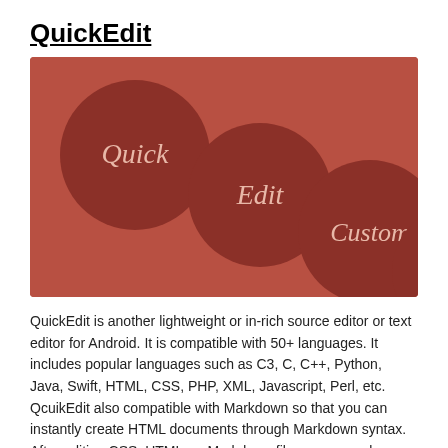QuickEdit
[Figure (illustration): Decorative graphic with a reddish-brown background showing four dark brown circles arranged diagonally from top-left to bottom-right, each containing italic light-colored text: 'Quick', 'Edit', 'Custom', 'Field']
QuickEdit is another lightweight or in-rich source editor or text editor for Android. It is compatible with 50+ languages. It includes popular languages such as C3, C, C++, Python, Java, Swift, HTML, CSS, PHP, XML, Javascript, Perl, etc. QcuikEdit also compatible with Markdown so that you can instantly create HTML documents through Markdown syntax. After editing CSS, HTML, or Markdown files, you can also preview them using your favorite browser with a single click